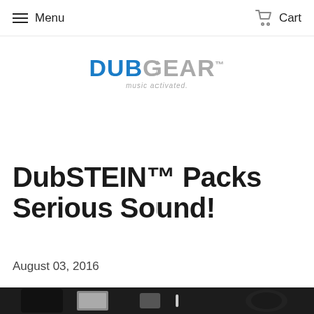Menu  Cart
[Figure (logo): DubGEAR logo with blue DUB text, gray GEAR text, and tagline 'music activated.']
DubSTEIN™ Packs Serious Sound!
August 03, 2016
[Figure (photo): Photo of DubSTEIN product components laid out on a white surface]